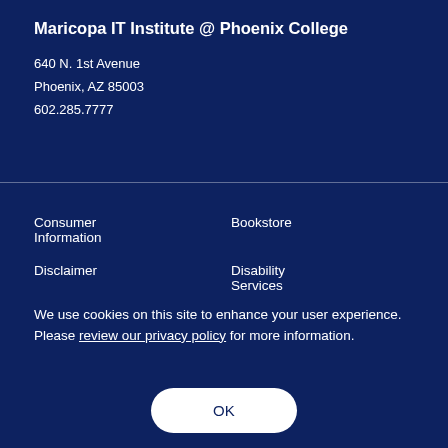Maricopa IT Institute @ Phoenix College
640 N. 1st Avenue
Phoenix, AZ 85003
602.285.7777
Consumer Information
Bookstore
Disclaimer
Disability Services
We use cookies on this site to enhance your user experience. Please review our privacy policy for more information.
OK